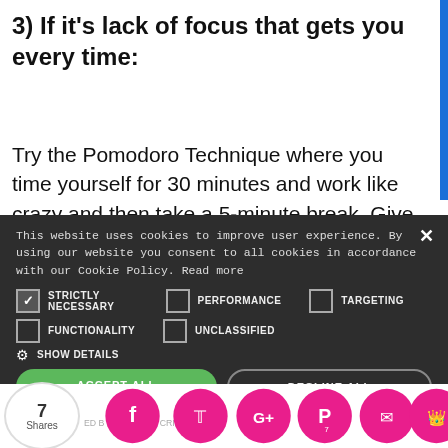3) If it's lack of focus that gets you every time:
Try the Pomodoro Technique where you time yourself for 30 minutes and work like crazy and then take a 5-minute break. Give yourself rewards f…
This website uses cookies to improve user experience. By using our website you consent to all cookies in accordance with our Cookie Policy. Read more
STRICTLY NECESSARY  PERFORMANCE  TARGETING  FUNCTIONALITY  UNCLASSIFIED
SHOW DETAILS
ACCEPT ALL  DECLINE ALL
7 Shares